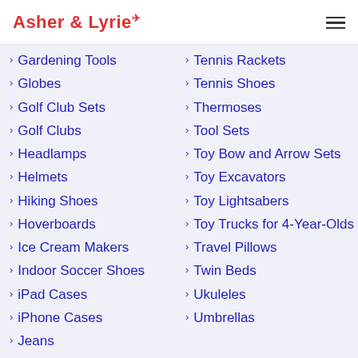Asher & Lyrie
Gardening Tools
Globes
Golf Club Sets
Golf Clubs
Headlamps
Helmets
Hiking Shoes
Hoverboards
Ice Cream Makers
Indoor Soccer Shoes
iPad Cases
iPhone Cases
Jeans
Tennis Rackets
Tennis Shoes
Thermoses
Tool Sets
Toy Bow and Arrow Sets
Toy Excavators
Toy Lightsabers
Toy Trucks for 4-Year-Olds
Travel Pillows
Twin Beds
Ukuleles
Umbrellas